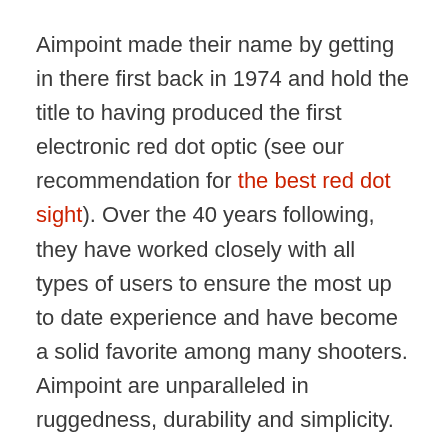Aimpoint made their name by getting in there first back in 1974 and hold the title to having produced the first electronic red dot optic (see our recommendation for the best red dot sight). Over the 40 years following, they have worked closely with all types of users to ensure the most up to date experience and have become a solid favorite among many shooters. Aimpoint are unparalleled in ruggedness, durability and simplicity.
EOTech on the other hand is part of the larger organization, L-3, which produces a range of US military equipment, maintaining a market